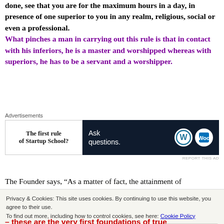done, see that you are for the maximum hours in a day, in presence of one superior to you in any realm, religious, social or even a professional.
What pinches a man in carrying out this rule is that in contact with his inferiors, he is a master and worshipped whereas with superiors, he has to be a servant and a worshipper.
[Figure (other): Advertisement banner with two parts: left side showing 'The first rule of Startup School?' text on white background, right side showing 'Ask questions.' text with WordPress and another logo on dark navy background. Label 'Advertisements' above.]
The Founder says, “As a matter of fact, the attainment of
Privacy & Cookies: This site uses cookies. By continuing to use this website, you agree to their use.
To find out more, including how to control cookies, see here: Cookie Policy
– these are the very first foundations of true